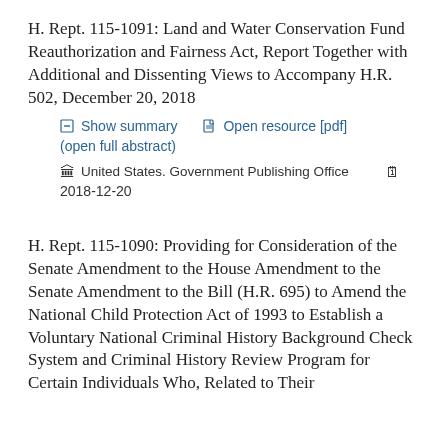H. Rept. 115-1091: Land and Water Conservation Fund Reauthorization and Fairness Act, Report Together with Additional and Dissenting Views to Accompany H.R. 502, December 20, 2018
Show summary   Open resource [pdf]   (open full abstract)
United States. Government Publishing Office   2018-12-20
H. Rept. 115-1090: Providing for Consideration of the Senate Amendment to the House Amendment to the Senate Amendment to the Bill (H.R. 695) to Amend the National Child Protection Act of 1993 to Establish a Voluntary National Criminal History Background Check System and Criminal History Review Program for Certain Individuals Who, Related to Their